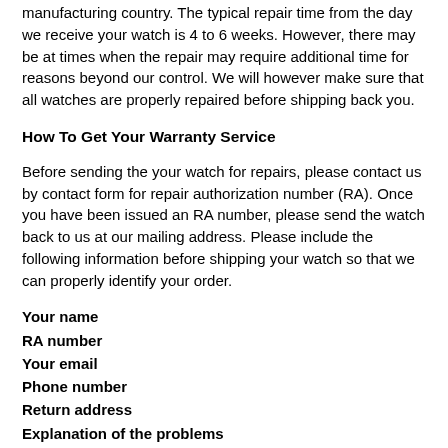manufacturing country. The typical repair time from the day we receive your watch is 4 to 6 weeks. However, there may be at times when the repair may require additional time for reasons beyond our control. We will however make sure that all watches are properly repaired before shipping back you.
How To Get Your Warranty Service
Before sending the your watch for repairs, please contact us by contact form for repair authorization number (RA). Once you have been issued an RA number, please send the watch back to us at our mailing address. Please include the following information before shipping your watch so that we can properly identify your order.
Your name
RA number
Your email
Phone number
Return address
Explanation of the problems